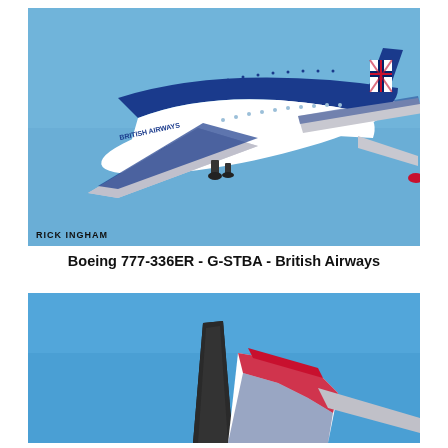[Figure (photo): British Airways Boeing 777-336ER (registration G-STBA) in flight against a blue sky, with blue fuselage livery and Union Jack tail, photographed by Rick Ingham. Credit text 'RICK INGHAM' visible in lower-left of image.]
Boeing 777-336ER - G-STBA - British Airways
[Figure (photo): Partial view of another aircraft, showing the tail section with a red and white livery against a blue sky, partially cropped at the bottom of the page.]